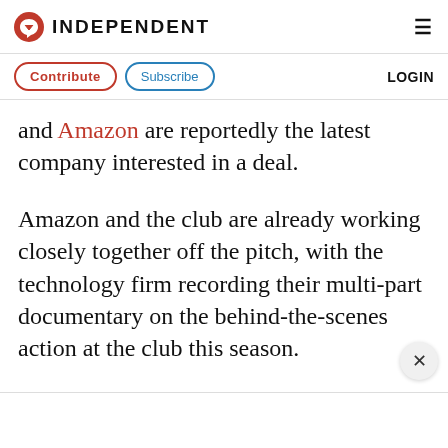INDEPENDENT
Contribute   Subscribe   LOGIN
and Amazon are reportedly the latest company interested in a deal.
Amazon and the club are already working closely together off the pitch, with the technology firm recording their multi-part documentary on the behind-the-scenes action at the club this season.